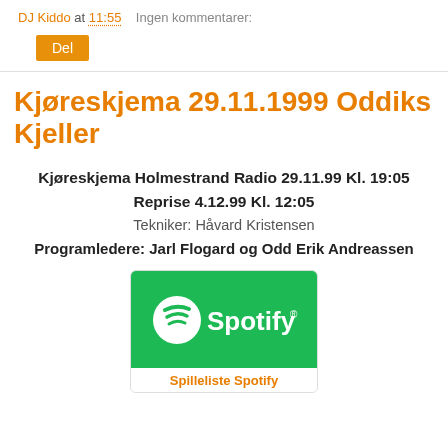DJ Kiddo at 11:55   Ingen kommentarer:
Del
Kjøreskjema 29.11.1999 Oddiks Kjeller
Kjøreskjema Holmestrand Radio 29.11.99 Kl. 19:05
Reprise 4.12.99 Kl. 12:05
Tekniker: Håvard Kristensen
Programledere: Jarl Flogard og Odd Erik Andreassen
[Figure (logo): Spotify logo on green background]
Spilleliste Spotify